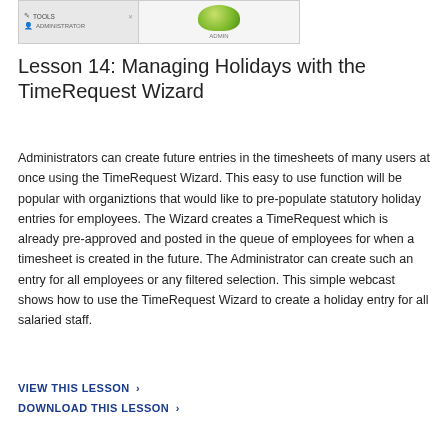[Figure (screenshot): Screenshot thumbnail showing a software interface with tools panel on the left and a lime/green graphic on the right]
Lesson 14: Managing Holidays with the TimeRequest Wizard
Administrators can create future entries in the timesheets of many users at once using the TimeRequest Wizard. This easy to use function will be popular with organiztions that would like to pre-populate statutory holiday entries for employees. The Wizard creates a TimeRequest which is already pre-approved and posted in the queue of employees for when a timesheet is created in the future. The Administrator can create such an entry for all employees or any filtered selection. This simple webcast shows how to use the TimeRequest Wizard to create a holiday entry for all salaried staff.
VIEW THIS LESSON ›
DOWNLOAD THIS LESSON ›